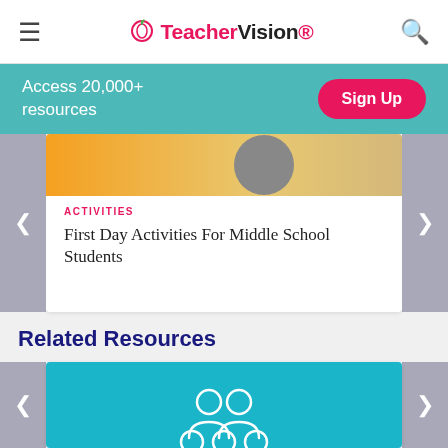TeacherVision
Access 20,000+ resources
Sign Up
ACTIVITIES
First Day Activities For Middle School Students
Related Resources
[Figure (illustration): Teal/cyan background with white outline icons of a group of 5 people (students/people group icon)]
ACTIVITIES